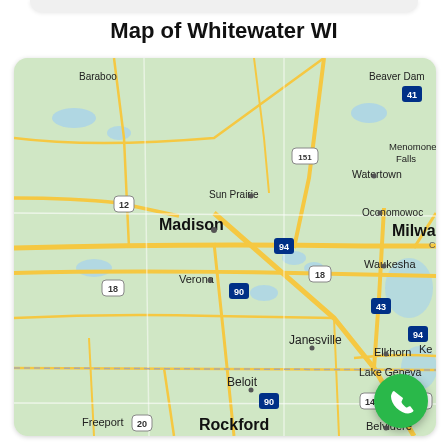Map of Whitewater WI
[Figure (map): Google Maps style road map showing the region around Whitewater, WI including cities such as Madison, Sun Prairie, Watertown, Menomonee Falls, Oconomowoc, Waukesha, Milwaukee, Verona, Janesville, Beloit, Elkhorn, Lake Geneva, Freeport, Rockford, Belvidere, and Beaver Dam. Highway markers visible include 41, 151, 12, 18, 90, 94, 43, 14, 90, 20.]